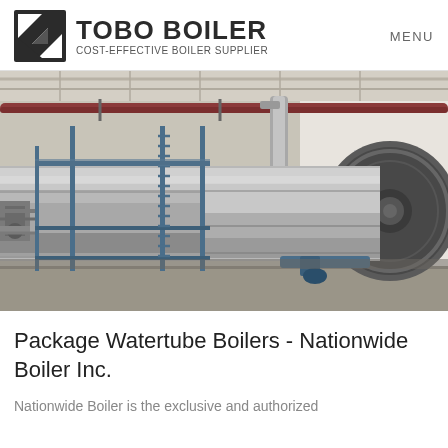TOBO BOILER - COST-EFFECTIVE BOILER SUPPLIER | MENU
[Figure (photo): Industrial boiler room showing large horizontal cylindrical boilers with metallic insulation, blue steel frame supports, ladders, pipes, and industrial fittings inside a warehouse facility.]
Package Watertube Boilers - Nationwide Boiler Inc.
Nationwide Boiler is the exclusive and authorized